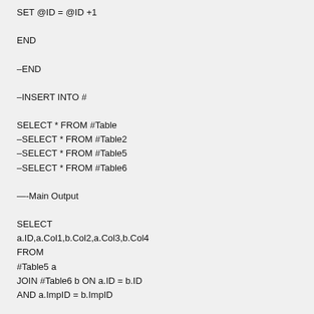SET @ID = @ID +1

END

–END

–INSERT INTO #

SELECT * FROM #Table
–SELECT * FROM #Table2
–SELECT * FROM #Table5
–SELECT * FROM #Table6

—-Main Output

SELECT
a.ID,a.Col1,b.Col2,a.Col3,b.Col4
FROM
#Table5 a
JOIN #Table6 b ON a.ID = b.ID
AND a.ImpID = b.ImpID

DROP TABLE #Table